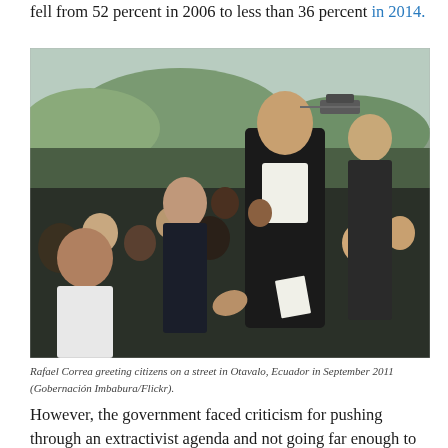fell from 52 percent in 2006 to less than 36 percent in 2014.
[Figure (photo): Rafael Correa greeting citizens, shaking hands with a young girl among a crowd of children on a street in Otavalo, Ecuador in September 2011. A man in a suit stands behind him. Green hills and a helicopter are visible in the background.]
Rafael Correa greeting citizens on a street in Otavalo, Ecuador in September 2011 (Gobernación Imbabura/Flickr).
However, the government faced criticism for pushing through an extractivist agenda and not going far enough to put the rights of nature enshrined in the constitution into practice. The